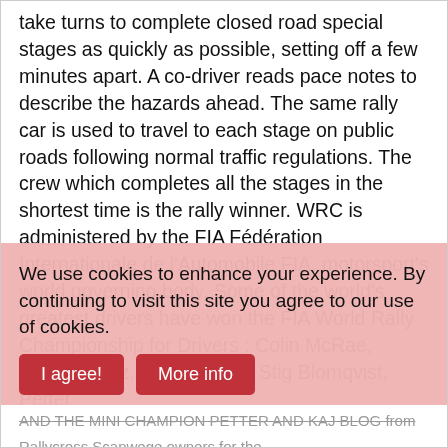take turns to complete closed road special stages as quickly as possible, setting off a few minutes apart. A co-driver reads pace notes to describe the hazards ahead. The same rally car is used to travel to each stage on public roads following normal traffic regulations. The crew which completes all the stages in the shortest time is the rally winner. WRC is administered by the FIA Fédération Internationale de l'Automobile FIA, motorsport's world governing body. Some of the world's greatest drivers have won the FIA World Rally Championship for Drivers : Colin McRae, Carlos Sainz, Walter Röhrl, Stig Blomqvist, Petter
We use cookies to enhance your experience. By continuing to visit this site you agree to our use of cookies.
...AND MINI CHAMPION PETTER AND KAJ BLOG from Rallycross Scanwege owners for the...